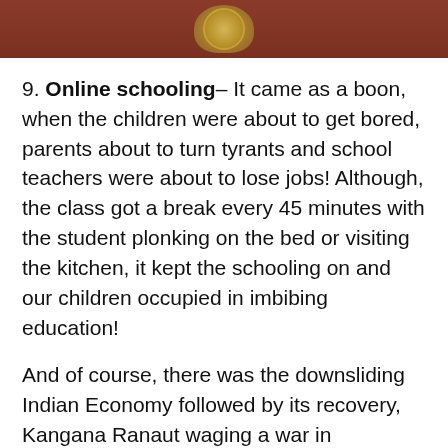[Figure (photo): Partial photo showing a decorative wooden surface with a golden emblem/crest in the center, reddish-brown wood on the left and dark green on the right.]
9. Online schooling– It came as a boon, when the children were about to get bored, parents about to turn tyrants and school teachers were about to lose jobs! Although, the class got a break every 45 minutes with the student plonking on the bed or visiting the kitchen, it kept the schooling on and our children occupied in imbibing education!
And of course, there was the downsliding Indian Economy followed by its recovery, Kangana Ranaut waging a war in Maharashtra, sad demise of Rishi Kapoor and Irrfan Khan, Elon Musk and his Space X, Farmlords staging a fancy protest in Delhi